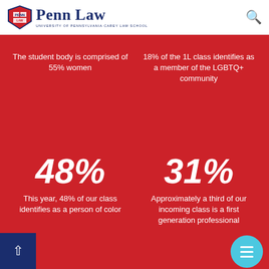Penn Law - University of Pennsylvania Carey Law School
The student body is comprised of 55% women
18% of the 1L class identifies as a member of the LGBTQ+ community
48%
This year, 48% of our class identifies as a person of color
31%
Approximately a third of our incoming class is a first generation professional